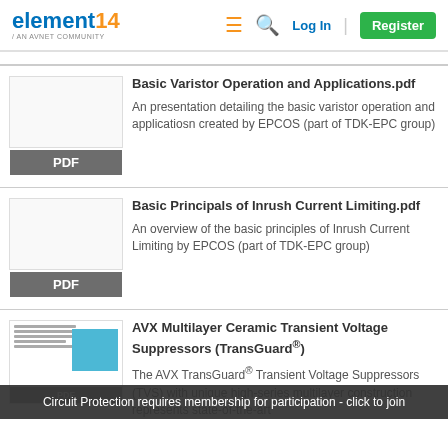element14 | AN AVNET COMMUNITY — Log In | Register
Basic Varistor Operation and Applications.pdf — An presentation detailing the basic varistor operation and applicatiosn created by EPCOS (part of TDK-EPC group)
Basic Principals of Inrush Current Limiting.pdf — An overview of the basic principles of Inrush Current Limiting by EPCOS (part of TDK-EPC group)
AVX Multilayer Ceramic Transient Voltage Suppressors (TransGuard®) — The AVX TransGuard® Transient Voltage Suppressors (TVS) with unique high-series multilayer construction represents state-of-the-art
Circuit Protection requires membership for participation - click to join